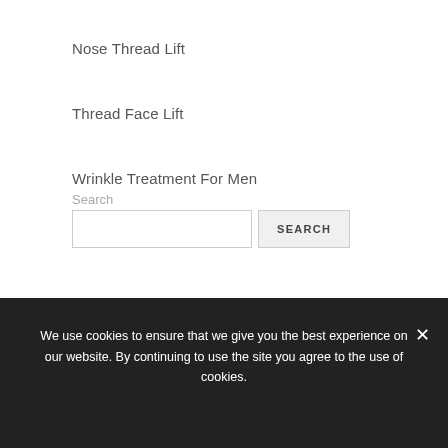Nose Thread Lift
Thread Face Lift
Wrinkle Treatment For Men
Search
SEARCH
We use cookies to ensure that we give you the best experience on our website. By continuing to use the site you agree to the use of cookies.